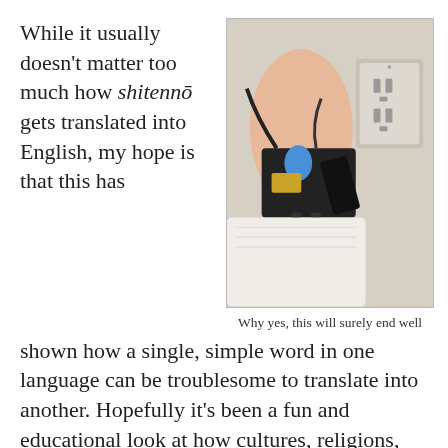While it usually doesn't matter too much how shitennō gets translated into English, my hope is that this has
[Figure (photo): A hand holding a collection of tangled electrical adapters and wires being held near a US electrical wall outlet]
Why yes, this will surely end well
shown how a single, simple word in one language can be troublesome to translate into another. Hopefully it's been a fun and educational look at how cultures, religions, and languages aren't separate things, but are all twisted together like a messy bunch of computer wires. And if you're not careful when you plug them into a foreign